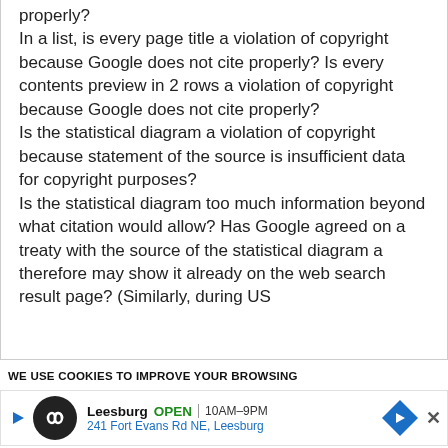properly? In a list, is every page title a violation of copyright because Google does not cite properly? Is every contents preview in 2 rows a violation of copyright because Google does not cite properly? Is the statistical diagram a violation of copyright because statement of the source is insufficient data for copyright purposes? Is the statistical diagram too much information beyond what citation would allow? Has Google agreed on a treaty with the source of the statistical diagram a therefore may show it already on the web search result page? (Similarly, during US
WE USE COOKIES TO IMPROVE YOUR BROWSING